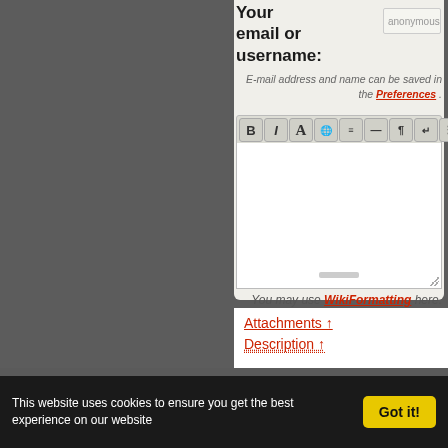Your email or username:
anonymous
E-mail address and name can be saved in the Preferences .
[Figure (screenshot): Wiki text editor toolbar with bold (B), italic (I), large A, globe, document, dash, paragraph, return, and image buttons]
[Figure (screenshot): Empty white textarea input box with resize handle at bottom-right]
You may use WikiFormatting here.
Attachments ↑
Description ↑
This website uses cookies to ensure you get the best experience on our website
Got it!